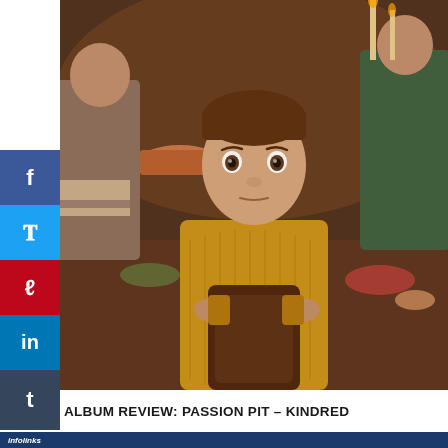[Figure (photo): A young boy in a mustard/yellow knit sweater sitting at a family dining table during a holiday meal, gripping the back of a wooden chair. Adults are visible around the table with food and candles in the background.]
ALBUM REVIEW: PASSION PIT – KINDRED
[Figure (screenshot): Social media share buttons sidebar on the left: Facebook (blue), Twitter (light blue), Pinterest (red), LinkedIn (blue), Tumblr (dark blue). Infolinks ad bar at the bottom with advertisement for 'Top Junior Gold Mining Stock' from www.rivres.com with gold bar image and a blue chevron button.]